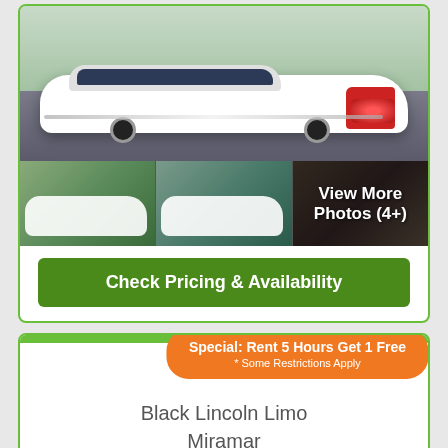[Figure (photo): White stretch limousine viewed from rear angle on paved surface]
View More Photos (4+)
Check Pricing & Availability
Special: Rent 5 Hours Get 1 Free
* Some Restrictions Apply
Black Lincoln Limo
Miramar
[Figure (photo): Venue or building exterior photo]
Leave a message